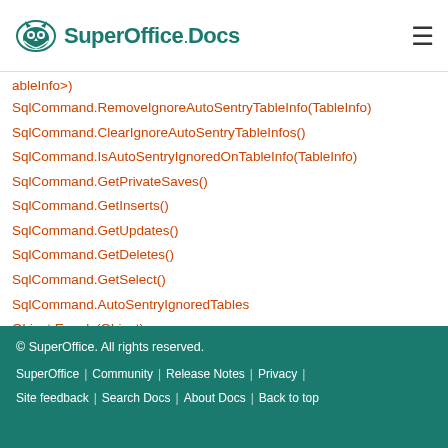SuperOffice Docs
ableInfo>)
SqlCommand.RemoveIgnoreAutoSentryTableInfo(TableInfo)
SqlCommand.ClearIgnoreAutoSentryTableInfos()
SqlCommand.IsAutoSentryIgnoredOnTableInfo(TableInfo)
SqlCommand.GetPrivateSaves()
SqlCommand.GetInserts()
SqlCommand.GetUpdates()
SqlCommand.GetDeletes()
SqlCommand.GetSelect()
SqlCommand.AutoSentryIgnoredTables
Object.Equals(Object)
Object.Equals(Object, Object)
Object.ReferenceEquals(Object, Object)
Object.GetHashCode()
© SuperOffice. All rights reserved. SuperOffice | Community | Release Notes | Privacy | Site feedback | Search Docs | About Docs | Back to top